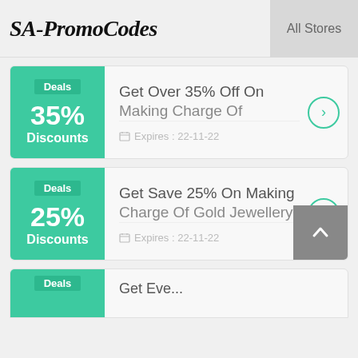SA-PromoCodes | All Stores
Deals - 35% Discounts
Get Over 35% Off On Making Charge Of...
Expires: 22-11-22
Deals - 25% Discounts
Get Save 25% On Making Charge Of Gold Jewellery...
Expires: 22-11-22
Deals